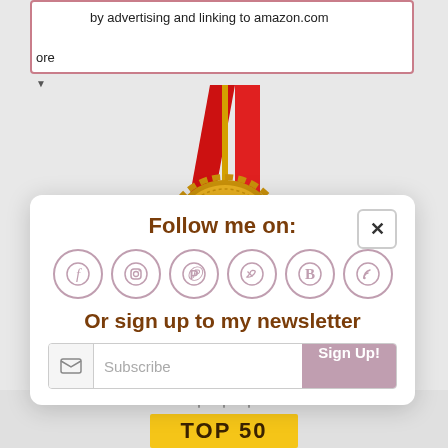by advertising and linking to amazon.com
ore
[Figure (illustration): Gold award medal with red ribbon, showing 'AWARDED TOP 100 EXPAT BLOG' text on medal face]
[Figure (screenshot): Social media follow popup with title 'Follow me on:', close button (x), six social media icons (Facebook, Instagram, Pinterest, Twitter, Bloglovin, RSS), newsletter signup text 'Or sign up to my newsletter', and Subscribe input field with Sign Up! button]
Follow me on:
Or sign up to my newsletter
Subscribe
Sign Up!
[Figure (illustration): Bottom of page showing gear/cog icons row and TOP 50 yellow banner]